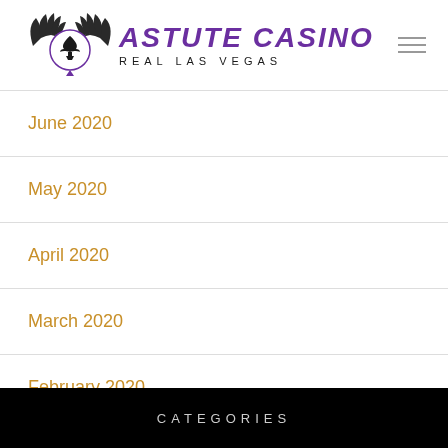ASTUTE CASINO REAL LAS VEGAS
June 2020
May 2020
April 2020
March 2020
February 2020
January 2020
CATEGORIES